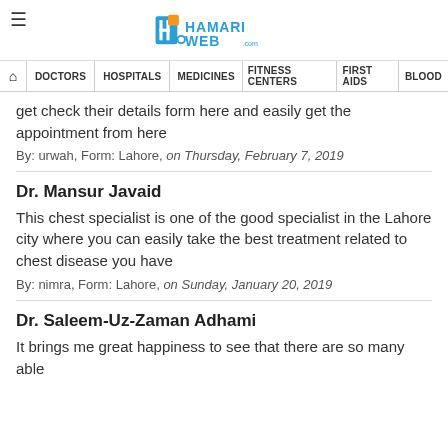HamariWeb
DOCTORS | HOSPITALS | MEDICINES | FITNESS CENTERS | FIRST AIDS | BLOOD
get check their details form here and easily get the appointment from here
By: urwah, Form: Lahore, on Thursday, February 7, 2019
Dr. Mansur Javaid
This chest specialist is one of the good specialist in the Lahore city where you can easily take the best treatment related to chest disease you have
By: nimra, Form: Lahore, on Sunday, January 20, 2019
Dr. Saleem-Uz-Zaman Adhami
It brings me great happiness to see that there are so many able